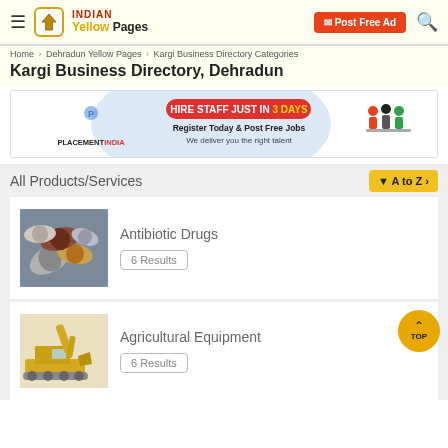Indian Yellow Pages — Post Free Ad
Home > Dehradun Yellow Pages > Kargi Business Directory Categories
Kargi Business Directory, Dehradun
[Figure (infographic): PlacementIndia advertisement banner: HIRE STAFF JUST IN 3 DAYS — Register Today & Post Free Jobs, We deliver you the right talent]
All Products/Services
A to Z
[Figure (photo): Close-up photo of colorful antibiotic drug capsules and pills]
Antibiotic Drugs
6 Results
[Figure (photo): Photo of a yellow excavator / agricultural equipment]
Agricultural Equipment